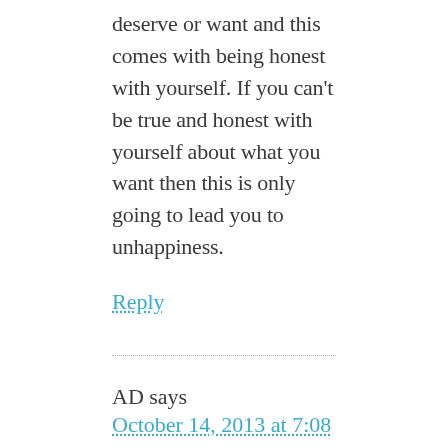deserve or want and this comes with being honest with yourself. If you can't be true and honest with yourself about what you want then this is only going to lead you to unhappiness.
Reply
AD says
October 14, 2013 at 7:08 am
Marc and Angel,
Always love the articles and insight. I just purchased the paperback book and look